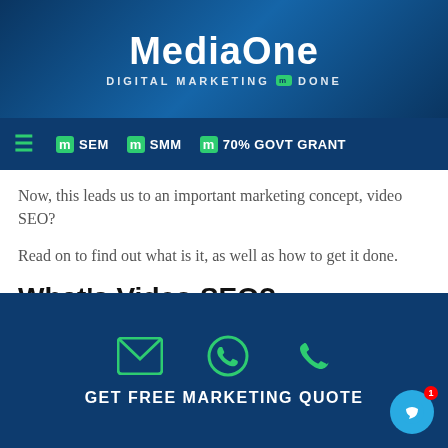MediaOne — DIGITAL MARKETING DONE
[Figure (logo): MediaOne logo with tagline DIGITAL MARKETING DONE on dark blue background]
[Figure (screenshot): Navigation bar with hamburger menu, SEM, SMM, 70% GOVT GRANT links on dark blue background]
Now, this leads us to an important marketing concept, video SEO?
Read on to find out what is it, as well as how to get it done.
What's Video SEO?
Video SEO is the practice of optimising your videos to be crawled, indexed, and ranked on search engine result pages (SERPs) for relevant keyword searches.
GET FREE MARKETING QUOTE